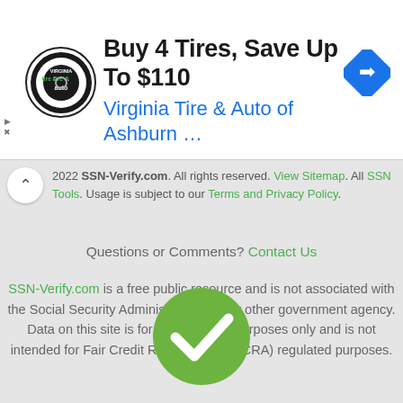[Figure (other): Advertisement banner: tire and auto shop logo, headline 'Buy 4 Tires, Save Up To $110', subtext 'Virginia Tire & Auto of Ashburn ...', blue navigation diamond icon on right]
2022 SSN-Verify.com. All rights reserved. View Sitemap. All SSN Tools. Usage is subject to our Terms and Privacy Policy.
Questions or Comments? Contact Us
SSN-Verify.com is a free public resource and is not associated with the Social Security Administration or any other government agency. Data on this site is for informational purposes only and is not intended for Fair Credit Reporting Act (FCRA) regulated purposes.
[Figure (illustration): Green circle with white checkmark icon]